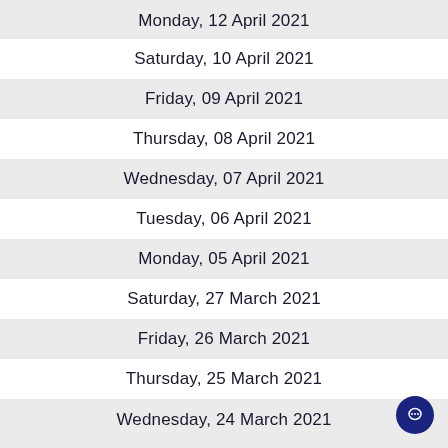Monday, 12 April 2021
Saturday, 10 April 2021
Friday, 09 April 2021
Thursday, 08 April 2021
Wednesday, 07 April 2021
Tuesday, 06 April 2021
Monday, 05 April 2021
Saturday, 27 March 2021
Friday, 26 March 2021
Thursday, 25 March 2021
Wednesday, 24 March 2021